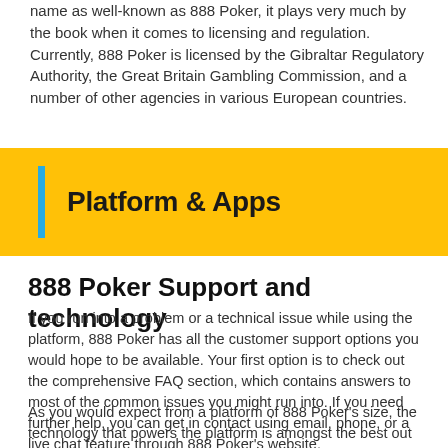name as well-known as 888 Poker, it plays very much by the book when it comes to licensing and regulation. Currently, 888 Poker is licensed by the Gibraltar Regulatory Authority, the Great Britain Gambling Commission, and a number of other agencies in various European countries.
Platform & Apps
888 Poker Support and technology
If you run into a problem or a technical issue while using the platform, 888 Poker has all the customer support options you would hope to be available. Your first option is to check out the comprehensive FAQ section, which contains answers to most of the common issues you might run into. If you need further help, you can get in contact using email, phone, or a live chat feature through 888 Poker's website.
As you would expect from a platform of 888 Poker's size, the technology that powers the platform is amongst the best out there. You can access the platform through either a desktop client or on a mobile device, with both performing equally well. Generally,